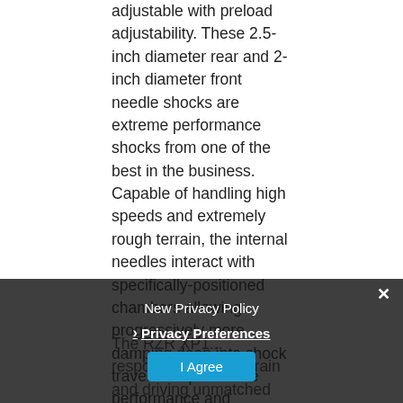adjustable with preload adjustability. These 2.5-inch diameter rear and 2-inch diameter front needle shocks are extreme performance shocks from one of the best in the business. Capable of handling high speeds and extremely rough terrain, the internal needles interact with specifically-positioned chambers allowing progressively more damping deep into shock travel to improve ride performance and increase bottoming resistance. The shocks are paired on all four corners with dual rate-dual spring coil-overs for 18 inches of rear travel and 16 inches of front travel to provide a comfortable ride in all terrains.
The RZR XP [...] responsive to the terrain and dr[iving] unmatched agility under all conditions. To ensure the
New Privacy Policy
Privacy Preferences
I Agree